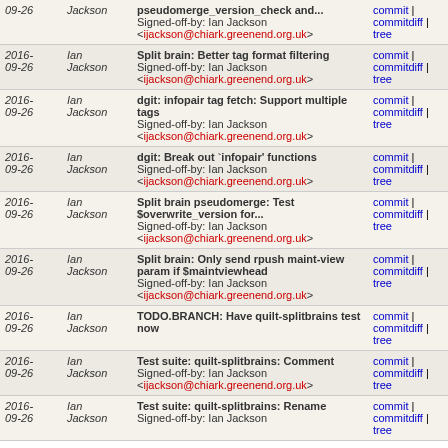| Date | Author | Commit message | Links |
| --- | --- | --- | --- |
| 2016-09-26 | Ian Jackson | pseudomerge_version_check and...
Signed-off-by: Ian Jackson <ijackson@chiark.greenend.org.uk> | commit | commitdiff | tree |
| 2016-09-26 | Ian Jackson | Split brain: Better tag format filtering
Signed-off-by: Ian Jackson <ijackson@chiark.greenend.org.uk> | commit | commitdiff | tree |
| 2016-09-26 | Ian Jackson | dgit: infopair tag fetch: Support multiple tags
Signed-off-by: Ian Jackson <ijackson@chiark.greenend.org.uk> | commit | commitdiff | tree |
| 2016-09-26 | Ian Jackson | dgit: Break out `infopair' functions
Signed-off-by: Ian Jackson <ijackson@chiark.greenend.org.uk> | commit | commitdiff | tree |
| 2016-09-26 | Ian Jackson | Split brain pseudomerge: Test $overwrite_version for...
Signed-off-by: Ian Jackson <ijackson@chiark.greenend.org.uk> | commit | commitdiff | tree |
| 2016-09-26 | Ian Jackson | Split brain: Only send rpush maint-view param if $maintviewhead
Signed-off-by: Ian Jackson <ijackson@chiark.greenend.org.uk> | commit | commitdiff | tree |
| 2016-09-26 | Ian Jackson | TODO.BRANCH: Have quilt-splitbrains test now | commit | commitdiff | tree |
| 2016-09-26 | Ian Jackson | Test suite: quilt-splitbrains: Comment
Signed-off-by: Ian Jackson <ijackson@chiark.greenend.org.uk> | commit | commitdiff | tree |
| 2016-09-26 | Ian Jackson | Test suite: quilt-splitbrains: Rename
Signed-off-by: Ian Jackson | commit | commitdiff | tree |